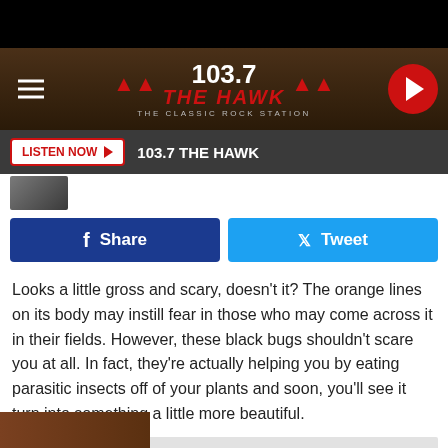[Figure (screenshot): Top black bar]
[Figure (logo): 103.7 The Hawk Classic Rock Station radio station header banner with hamburger menu, logo, and red play button]
[Figure (screenshot): Listen Now bar with red button and 103.7 THE HAWK text on dark background]
[Figure (screenshot): Facebook Share and Twitter Tweet social share buttons]
Looks a little gross and scary, doesn't it? The orange lines on its body may instill fear in those who may come across it in their fields. However, these black bugs shouldn't scare you at all. In fact, they're actually helping you by eating parasitic insects off of your plants and soon, you'll see it turn into something a little more beautiful.
This I